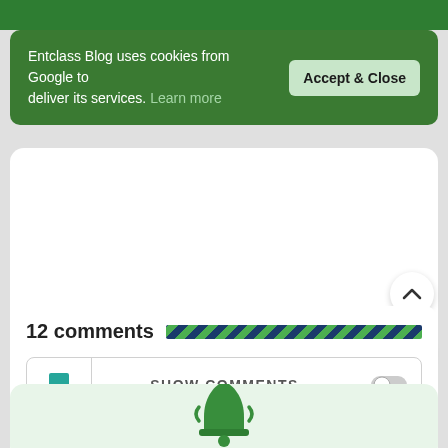Entclass Blog uses cookies from Google to deliver its services. Learn more
Accept & Close
12 comments
[Figure (other): Diagonal striped bar in green and dark blue]
[Figure (other): Chat bubble icon in teal/green]
SHOW COMMENTS
[Figure (other): Toggle switch icon (off state)]
[Figure (other): Green notification bell icon with vibration lines]